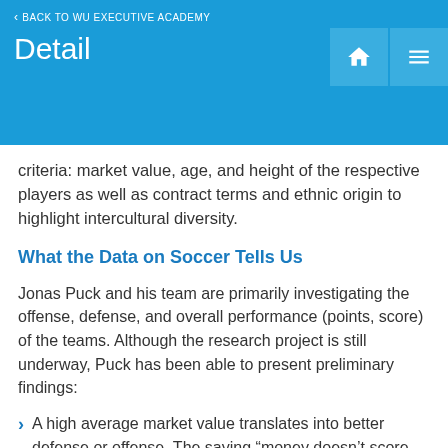< BACK TO WU EXECUTIVE ACADEMY
Detail
criteria: market value, age, and height of the respective players as well as contract terms and ethnic origin to highlight intercultural diversity.
What the Data on Soccer Tells Us
Jonas Puck and his team are primarily investigating the offense, defense, and overall performance (points, score) of the teams. Although the research project is still underway, Puck has been able to present preliminary findings:
A high average market value translates into better defense or offense. The saying “money doesn’t score goals” thus seems to be somewhat off target.
On average, teams with a high degree of intercultural diversity, i.e. different ethnic origins among the players, perform better. Especially with regard to the number of goals scored, diverse teams perform significantly